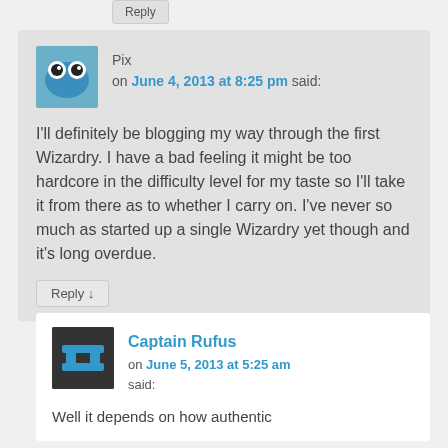Reply
Pix on June 4, 2013 at 8:25 pm said:
I'll definitely be blogging my way through the first Wizardry. I have a bad feeling it might be too hardcore in the difficulty level for my taste so I'll take it from there as to whether I carry on. I've never so much as started up a single Wizardry yet though and it's long overdue.
Reply ↓
Captain Rufus on June 5, 2013 at 5:25 am said:
Well it depends on how authentic